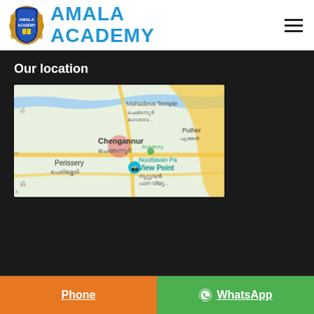[Figure (logo): Amala Academy logo with shield emblem and text]
Our location
[Figure (map): Google Maps screenshot showing Chengannur area with Mahadeva Temple, Perissery, Noottavan Par View Point, Puthen area marked]
Phone
WhatsApp